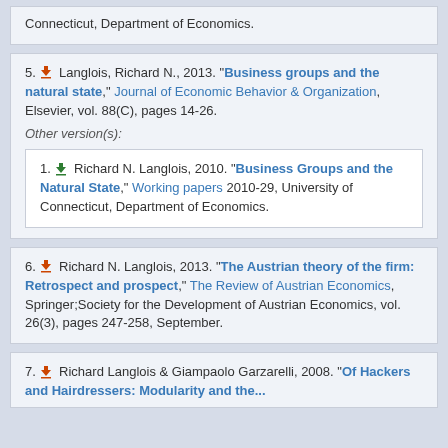Connecticut, Department of Economics.
5. Langlois, Richard N., 2013. "Business groups and the natural state," Journal of Economic Behavior & Organization, Elsevier, vol. 88(C), pages 14-26.
Other version(s):
1. Richard N. Langlois, 2010. "Business Groups and the Natural State," Working papers 2010-29, University of Connecticut, Department of Economics.
6. Richard N. Langlois, 2013. "The Austrian theory of the firm: Retrospect and prospect," The Review of Austrian Economics, Springer;Society for the Development of Austrian Economics, vol. 26(3), pages 247-258, September.
7. Richard Langlois & Giampaolo Garzarelli, 2008. "Of Hackers and Hairdressers: Modularity and the...